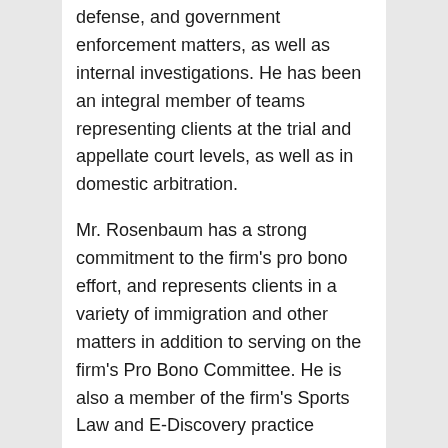defense, and government enforcement matters, as well as internal investigations. He has been an integral member of teams representing clients at the trial and appellate court levels, as well as in domestic arbitration.
Mr. Rosenbaum has a strong commitment to the firm's pro bono effort, and represents clients in a variety of immigration and other matters in addition to serving on the firm's Pro Bono Committee. He is also a member of the firm's Sports Law and E-Discovery practice groups.